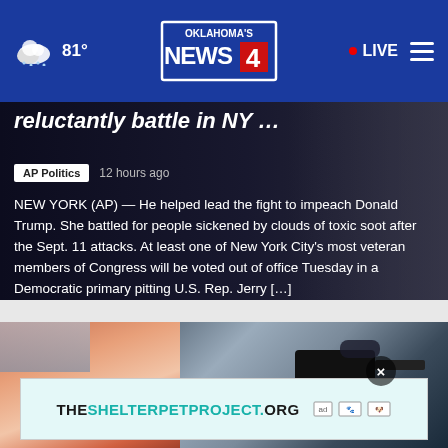81° | Oklahoma's News 4 | LIVE
reluctantly battle in NY …
AP Politics   12 hours ago
NEW YORK (AP) — He helped lead the fight to impeach Donald Trump. She battled for people sickened by clouds of toxic soot after the Sept. 11 attacks. At least one of New York City's most veteran members of Congress will be voted out of office Tuesday in a Democratic primary pitting U.S. Rep. Jerry […]
[Figure (photo): Two people photographed outdoors, one operating a camera]
THESHELTERPETPROJECT.ORG